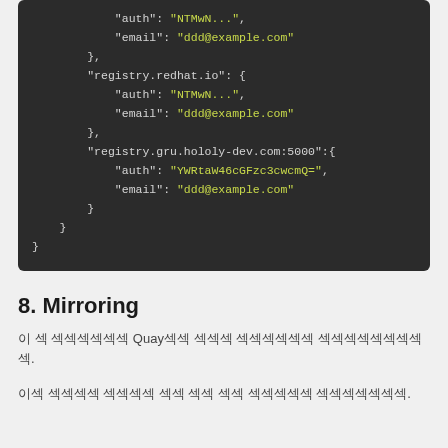"auth": "NTMwN...",
"email": "ddd@example.com"
},
"registry.redhat.io": {
    "auth": "NTMwN...",
    "email": "ddd@example.com"
},
"registry.gru.hololy-dev.com:5000":{
    "auth": "YWRtaW46cGFzc3cwcmQ=",
    "email": "ddd@example.com"
}
    }
}
8. Mirroring
이 섹션 섹섹섹섹섹섹섹 Quay섹섹 섹섹섹 섹섹섹섹섹섹 섹섹섹섹섹섹섹섹섹.
이섹 섹섹섹섹 섹섹섹섹 섹섹 섹섹 섹섹 섹섹섹섹섹 섹섹섹섹섹섹섹.